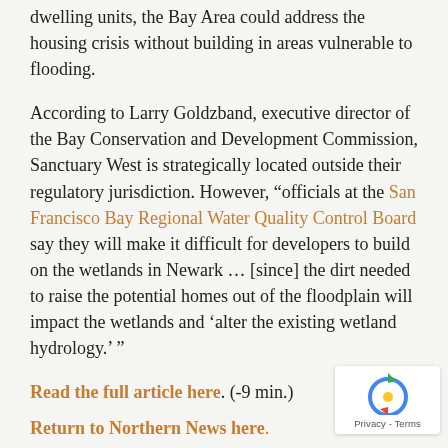dwelling units, the Bay Area could address the housing crisis without building in areas vulnerable to flooding.
According to Larry Goldzband, executive director of the Bay Conservation and Development Commission, Sanctuary West is strategically located outside their regulatory jurisdiction. However, "officials at the San Francisco Bay Regional Water Quality Control Board say they will make it difficult for developers to build on the wetlands in Newark … [since] the dirt needed to raise the potential homes out of the floodplain will impact the wetlands and 'alter the existing wetland hydrology.' "
Read the full article here. (-9 min.)
Return to Northern News here.